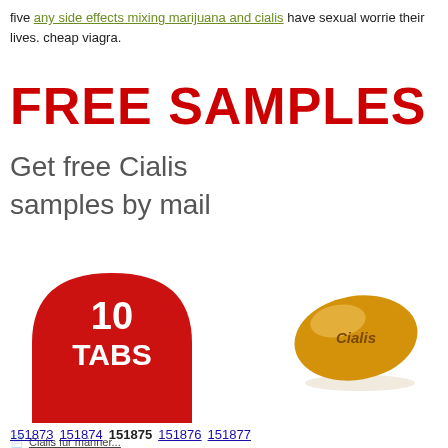five any side effects mixing marijuana and cialis have sexual worries their lives. cheap viagra.
FREE SAMPLES
Get free Cialis samples by mail
[Figure (illustration): Red semicircle badge with '10 TABS' in white bold text, and a tan/orange oval Cialis pill tablet with 'Cialis' embossed on it]
Cialis für männer...
151873 151874 151875 151876 151877